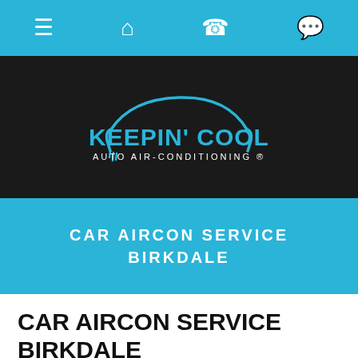[Navigation bar with menu, home, phone, and chat icons]
[Figure (logo): Keepin' Cool Auto Air-Conditioning logo with car silhouette outline in cyan/blue on dark background]
CAR AIRCON SERVICE BIRKDALE
CAR AIRCON SERVICE BIRKDALE
Looking for Mobile Car Aircon Service in Birkdale?